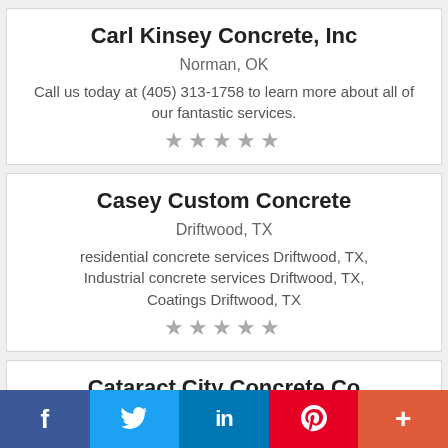Carl Kinsey Concrete, Inc
Norman, OK
Call us today at (405) 313-1758 to learn more about all of our fantastic services.
[Figure (other): Five grey star rating icons]
Casey Custom Concrete
Driftwood, TX
residential concrete services Driftwood, TX, Industrial concrete services Driftwood, TX, Coatings Driftwood, TX
[Figure (other): Five grey star rating icons]
Cataract City Concrete Co
Niagara Falls, NY
Concrete contractors
[Figure (other): Social media share bar with Facebook, Twitter, LinkedIn, Pinterest, and More buttons]